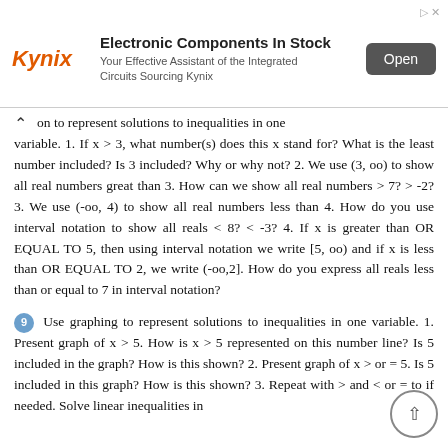[Figure (screenshot): Kynix advertisement banner: 'Electronic Components In Stock - Your Effective Assistant of the Integrated Circuits Sourcing Kynix' with an Open button]
on to represent solutions to inequalities in one variable. 1. If x > 3, what number(s) does this x stand for? What is the least number included? Is 3 included? Why or why not? 2. We use (3, oo) to show all real numbers great than 3. How can we show all real numbers > 7? > -2? 3. We use (-oo, 4) to show all real numbers less than 4. How do you use interval notation to show all reals < 8? < -3? 4. If x is greater than OR EQUAL TO 5, then using interval notation we write [5, oo) and if x is less than OR EQUAL TO 2, we write (-oo,2]. How do you express all reals less than or equal to 7 in interval notation?
9  Use graphing to represent solutions to inequalities in one variable. 1. Present graph of x > 5. How is x > 5 represented on this number line? Is 5 included in the graph? How is this shown? 2. Present graph of x > or = 5. Is 5 included in this graph? How is this shown? 3. Repeat with > and < or = to if needed. Solve linear inequalities in